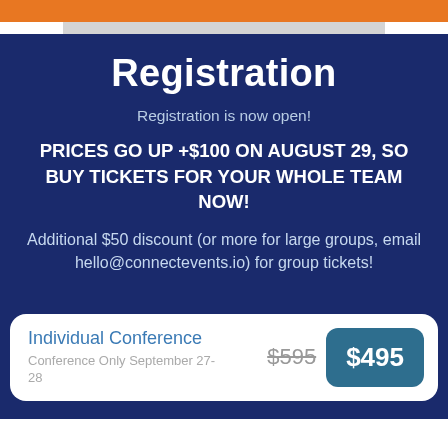Registration
Registration is now open!
PRICES GO UP +$100 ON AUGUST 29, SO BUY TICKETS FOR YOUR WHOLE TEAM NOW!
Additional $50 discount (or more for large groups, email hello@connectevents.io) for group tickets!
Individual Conference
Conference Only September 27-28
$595  $495